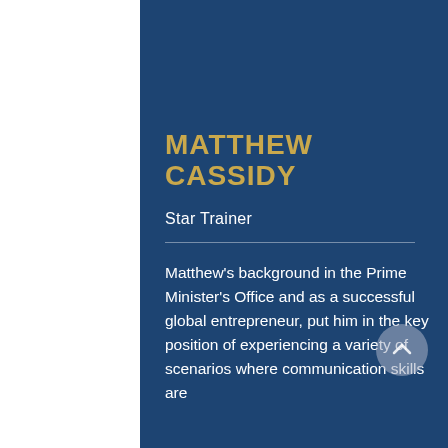MATTHEW CASSIDY
Star Trainer
Matthew's background in the Prime Minister's Office and as a successful global entrepreneur, put him in the key position of experiencing a variety of scenarios where communication skills are